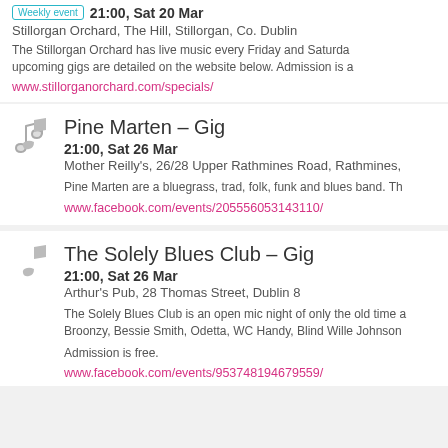Weekly event 21:00, Sat 20 Mar
Stillorgan Orchard, The Hill, Stillorgan, Co. Dublin
The Stillorgan Orchard has live music every Friday and Saturday. upcoming gigs are detailed on the website below. Admission is a
www.stillorganorchard.com/specials/
Pine Marten – Gig
21:00, Sat 26 Mar
Mother Reilly's, 26/28 Upper Rathmines Road, Rathmines,
Pine Marten are a bluegrass, trad, folk, funk and blues band. Th
www.facebook.com/events/205556053143110/
The Solely Blues Club – Gig
21:00, Sat 26 Mar
Arthur's Pub, 28 Thomas Street, Dublin 8
The Solely Blues Club is an open mic night of only the old time Broonzy, Bessie Smith, Odetta, WC Handy, Blind Wille Johnson
Admission is free.
www.facebook.com/events/953748194679559/